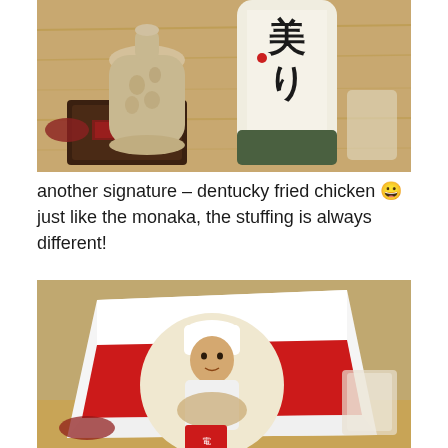[Figure (photo): Photo of Japanese sake bottles and a ceramic carafe on a wooden counter. A patterned ceramic bottle is on the left with a dark coaster, and a large sake bottle with Japanese calligraphy on white label is on the right.]
another signature – dentucky fried chicken 😀 just like the monaka, the stuffing is always different!
[Figure (photo): Photo of a white and red takeout-style box with a circular portrait of a Japanese chef in a white uniform and chef's hat, cooking. The box resembles KFC-style packaging with Japanese characters/logo on a red sticker.]